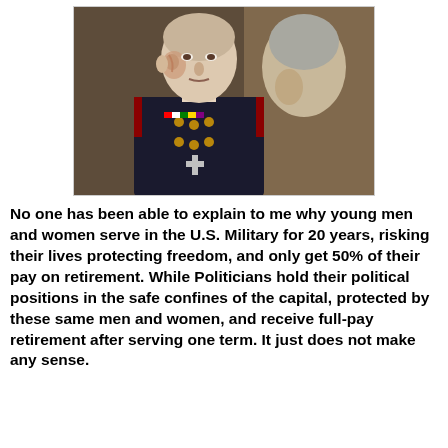[Figure (photo): A young male U.S. Marine in dress uniform with medals, visible burn scars on his face, looking forward. A woman with gray hair is partially visible behind him, hand raised to her mouth.]
No one has been able to explain to me why young men and women serve in the U.S. Military for 20 years, risking their lives protecting freedom, and only get 50% of their pay on retirement. While Politicians hold their political positions in the safe confines of the capital, protected by these same men and women, and receive full-pay retirement after serving one term. It just does not make any sense.